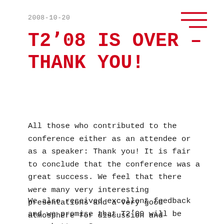2008-10-20
T2ʼ08 IS OVER – THANK YOU!
All those who contributed to the conference either as an attendee or as a speaker: Thank you! It is fair to conclude that the conference was a great success. We feel that there were many very interesting presentations and a very good atmosphere for discussion and networking 🙂
We also received excellent feedback and we promise that T2ʼ09 will be even better. See